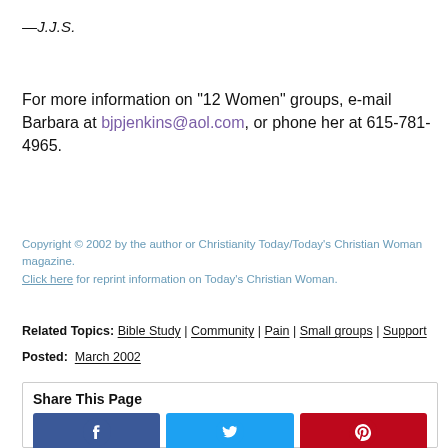—J.J.S.
For more information on "12 Women" groups, e-mail Barbara at bjpjenkins@aol.com, or phone her at 615-781-4965.
Copyright © 2002 by the author or Christianity Today/Today's Christian Woman magazine.
Click here for reprint information on Today's Christian Woman.
Related Topics: Bible Study | Community | Pain | Small groups | Support
Posted:  March 2002
Share This Page